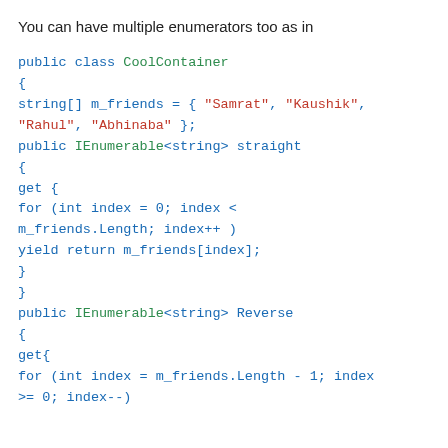You can have multiple enumerators too as in
public class CoolContainer
{
string[] m_friends = { "Samrat", "Kaushik",
"Rahul", "Abhinaba" };
public IEnumerable<string> straight
{
get {
for (int index = 0; index <
m_friends.Length; index++ )
yield return m_friends[index];
}
}
public IEnumerable<string> Reverse
{
get{
for (int index = m_friends.Length - 1; index
>= 0; index--)